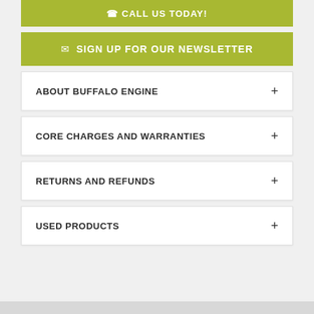CALL US TODAY!
✉ SIGN UP FOR OUR NEWSLETTER
ABOUT BUFFALO ENGINE +
CORE CHARGES AND WARRANTIES +
RETURNS AND REFUNDS +
USED PRODUCTS +